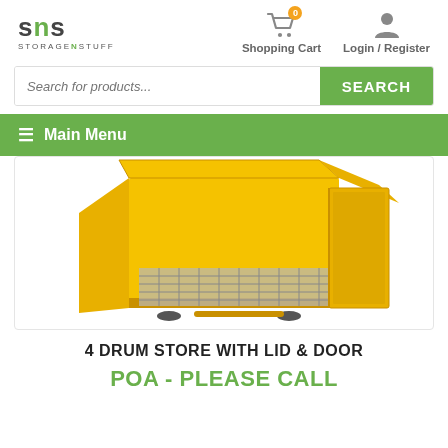SNS Storage N Stuff — Shopping Cart — Login / Register
Search for products...
≡ Main Menu
[Figure (photo): Yellow metal 4 drum store with lid open and door ajar, showing internal grid floor, on wheels.]
4 DRUM STORE WITH LID & DOOR
POA - PLEASE CALL